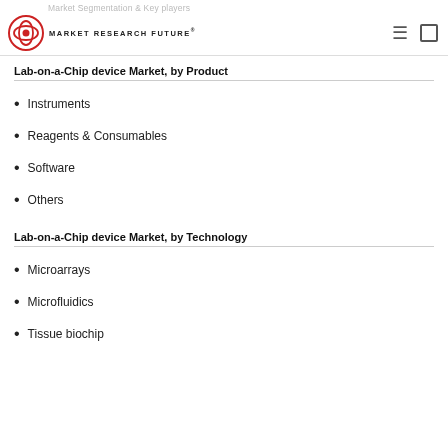Market Segmentation & Key players
Lab-on-a-Chip device Market, by Product
Instruments
Reagents & Consumables
Software
Others
Lab-on-a-Chip device Market, by Technology
Microarrays
Microfluidics
Tissue biochip